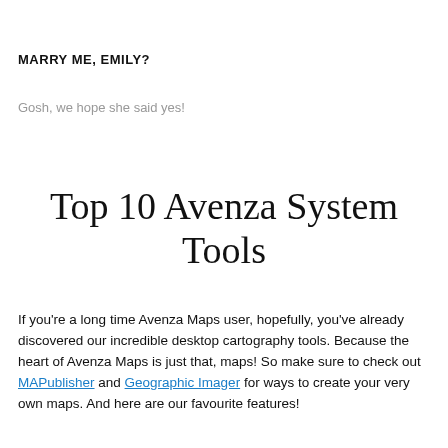MARRY ME, EMILY?
Gosh, we hope she said yes!
Top 10 Avenza System Tools
If you're a long time Avenza Maps user, hopefully, you've already discovered our incredible desktop cartography tools. Because the heart of Avenza Maps is just that, maps! So make sure to check out MAPublisher and Geographic Imager for ways to create your very own maps. And here are our favourite features!